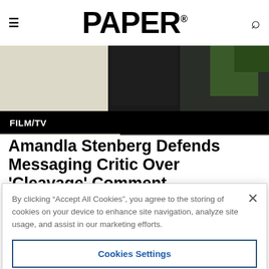PAPER
[Figure (photo): Hero image showing a person in dark clothing against a green/dark background]
FILM/TV
Amandla Stenberg Defends Messaging Critic Over 'Cleavage' Comment
by Jade Gomez
By clicking “Accept All Cookies”, you agree to the storing of cookies on your device to enhance site navigation, analyze site usage, and assist in our marketing efforts.
Cookies Settings
Reject All
Accept All Cookies